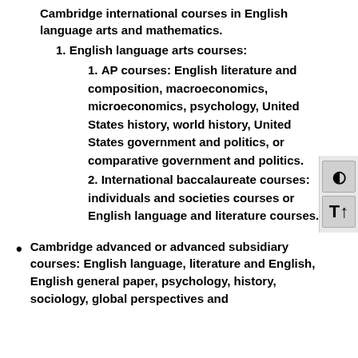Cambridge international courses in English language arts and mathematics.
1. English language arts courses:
1. AP courses: English literature and composition, macroeconomics, microeconomics, psychology, United States history, world history, United States government and politics, or comparative government and politics.
2. International baccalaureate courses: individuals and societies courses or English language and literature courses.
Cambridge advanced or advanced subsidiary courses: English language, literature and English, English general paper, psychology, history, sociology, global perspectives and